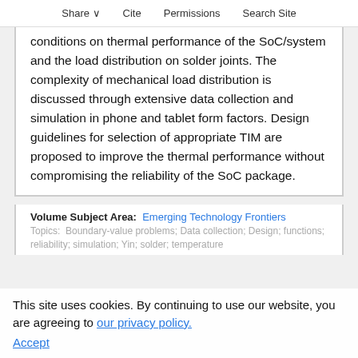Share  Cite  Permissions  Search Site
conditions on thermal performance of the SoC/system and the load distribution on solder joints. The complexity of mechanical load distribution is discussed through extensive data collection and simulation in phone and tablet form factors. Design guidelines for selection of appropriate TIM are proposed to improve the thermal performance without compromising the reliability of the SoC package.
Volume Subject Area: Emerging Technology Frontiers
Topics: Boundary-value problems; Data collection; Design; functions; reliability; simulation; Yin; solder; temperature
This site uses cookies. By continuing to use our website, you are agreeing to our privacy policy. Accept